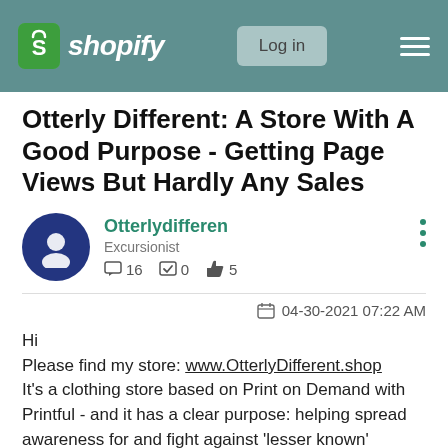Shopify — Log in
Otterly Different: A Store With A Good Purpose - Getting Page Views But Hardly Any Sales
Otterlydifferen
Excursionist
16 comments  0 solutions  5 likes
04-30-2021 07:22 AM
Hi
Please find my store: www.OtterlyDifferent.shop
It's a clothing store based on Print on Demand with Printful - and it has a clear purpose: helping spread awareness for and fight against 'lesser known' animals